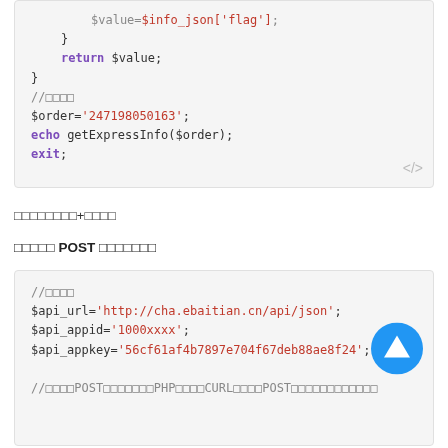[Figure (screenshot): PHP code block showing $value=$info_json['flag']; }, return $value; }, //comment, $order='247198050163';, echo getExpressInfo($order);, exit;]
日期区间查询+签名示例
以下是使用 POST 方式请求的示例代码
[Figure (screenshot): PHP code block showing //配置信息, $api_url='http://cha.ebaitian.cn/api/json';, $api_appid='1000xxxx';, $api_appkey='56cf61af4b7897e704f67deb88ae8f24';, //以下使用POST请求，PHP使用CURL发送POST请求，仅供参考]